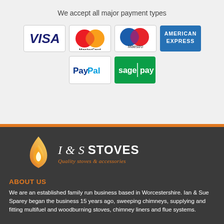We accept all major payment types
[Figure (infographic): Payment method logos: Visa, MasterCard, Maestro, American Express, PayPal, Sage Pay]
[Figure (logo): I & S Stoves logo with flame graphic and tagline 'Quality stoves & accessories']
ABOUT US
We are an established family run business based in Worcestershire. Ian & Sue Sparey began the business 15 years ago, sweeping chimneys, supplying and fitting multifuel and woodburning stoves, chimney liners and flue systems.